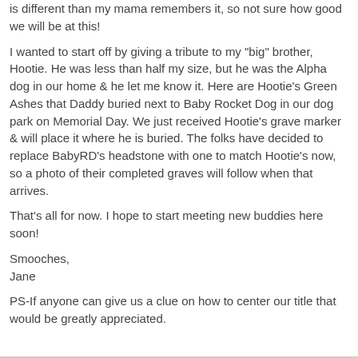is different than my mama remembers it, so not sure how good we will be at this!
I wanted to start off by giving a tribute to my "big" brother, Hootie. He was less than half my size, but he was the Alpha dog in our home & he let me know it. Here are Hootie's Green Ashes that Daddy buried next to Baby Rocket Dog in our dog park on Memorial Day. We just received Hootie's grave marker & will place it where he is buried. The folks have decided to replace BabyRD's headstone with one to match Hootie's now, so a photo of their completed graves will follow when that arrives.
That's all for now. I hope to start meeting new buddies here soon!
Smooches,
Jane
PS-If anyone can give us a clue on how to center our title that would be greatly appreciated.